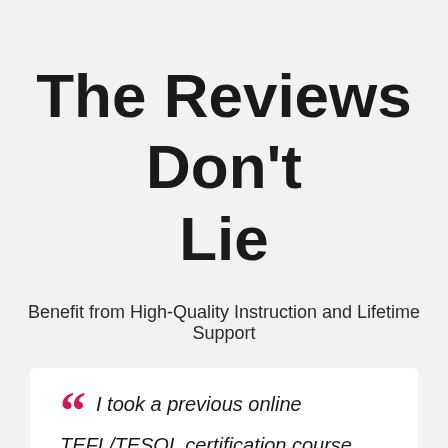The Reviews Don't Lie
Benefit from High-Quality Instruction and Lifetime Support
I took a previous online TEFL/TESOL certification course that was significantly